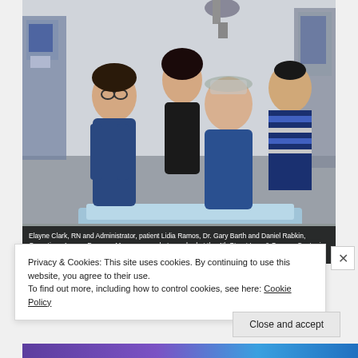[Figure (photo): Four people posed in a medical/surgical suite: Elayne Clark RN and Administrator, patient Lidia Ramos, Dr. Gary Barth, and Daniel Rabkin, Operations Access Program Manager, at the 4th Street Laer & Surgery Center in Santa Rosa, Calif.]
Elayne Clark, RN and Administrator, patient Lidia Ramos, Dr. Gary Barth and Daniel Rabkin, Operations Access Program Manager are photographed at the 4th Street Laer & Surgery Center in Santa Rosa, Calif.
Privacy & Cookies: This site uses cookies. By continuing to use this website, you agree to their use.
To find out more, including how to control cookies, see here: Cookie Policy